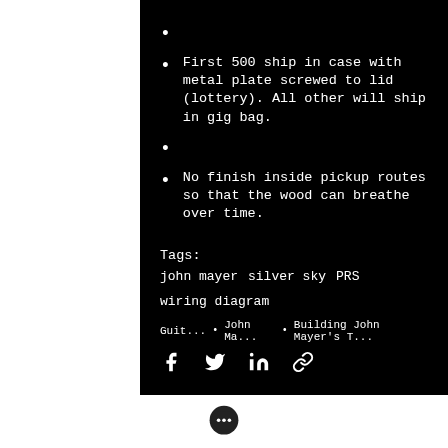First 500 ship in case with metal plate screwed to lid (lottery). All other will ship in gig bag.
No finish inside pickup routes so that the wood can breathe over time.
Tags:
john mayer    silver sky    PRS    wiring diagram
Guit...  •  John Ma...  •  Building John Mayer's T...
[Figure (infographic): Social share icons: Facebook, Twitter, LinkedIn, link/chain icon]